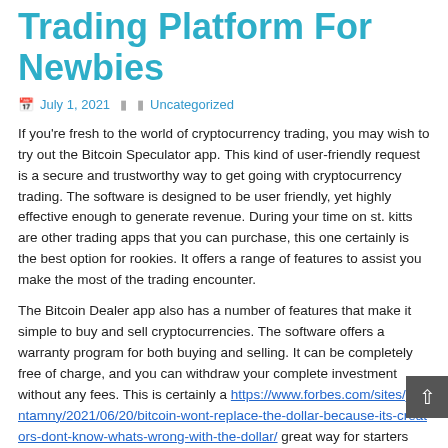Trading Platform For Newbies
July 1, 2021   Uncategorized
If you're fresh to the world of cryptocurrency trading, you may wish to try out the Bitcoin Speculator app. This kind of user-friendly request is a secure and trustworthy way to get going with cryptocurrency trading. The software is designed to be user friendly, yet highly effective enough to generate revenue. During your time on st. kitts are other trading apps that you can purchase, this one certainly is the best option for rookies. It offers a range of features to assist you make the most of the trading encounter.
The Bitcoin Dealer app also has a number of features that make it simple to buy and sell cryptocurrencies. The software offers a warranty program for both buying and selling. It can be completely free of charge, and you can withdraw your complete investment without any fees. This is certainly a https://www.forbes.com/sites/johntamny/2021/06/20/bitcoin-wont-replace-the-dollar-because-its-creators-dont-know-whats-wrong-with-the-dollar/ great way for starters with Bitcoin trading. It truly is